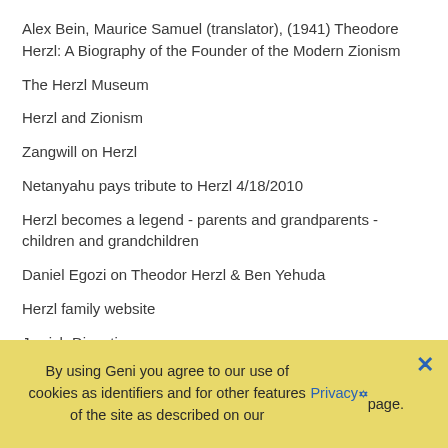Alex Bein, Maurice Samuel (translator), (1941) Theodore Herzl: A Biography of the Founder of the Modern Zionism
The Herzl Museum
Herzl and Zionism
Zangwill on Herzl
Netanyahu pays tribute to Herzl 4/18/2010
Herzl becomes a legend - parents and grandparents - children and grandchildren
Daniel Egozi on Theodor Herzl & Ben Yehuda
Herzl family website
Jewish Dinasties
Herzl Tivadar. 1860-1914.
By using Geni you agree to our use of cookies as identifiers and for other features of the site as described on our Privacy page.